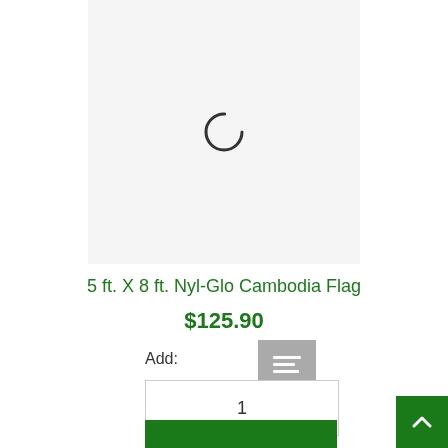[Figure (photo): Product image loading spinner on light gray background]
5 ft. X 8 ft. Nyl-Glo Cambodia Flag
$125.90
Add: